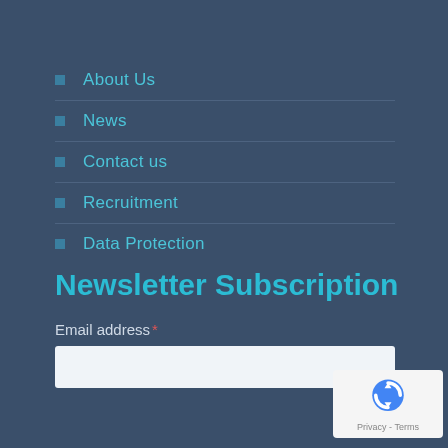About Us
News
Contact us
Recruitment
Data Protection
Newsletter Subscription
Email address *
[Figure (screenshot): reCAPTCHA widget with Privacy - Terms text]